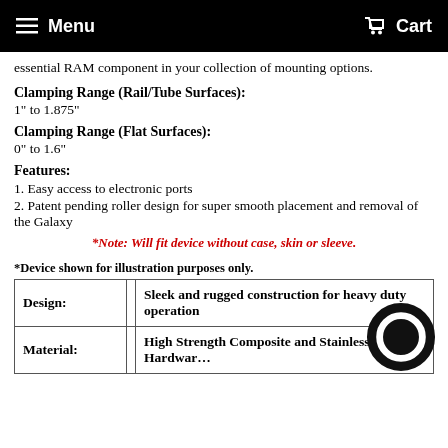Menu  Cart
essential RAM component in your collection of mounting options.
Clamping Range (Rail/Tube Surfaces):
1" to 1.875"
Clamping Range (Flat Surfaces):
0" to 1.6"
Features:
1. Easy access to electronic ports
2. Patent pending roller design for super smooth placement and removal of the Galaxy
*Note: Will fit device without case, skin or sleeve.
*Device shown for illustration purposes only.
| Design: |  | Sleek and rugged construction for heavy duty operation |
| --- | --- | --- |
| Material: |  | High Strength Composite and Stainless Steel Hardware |